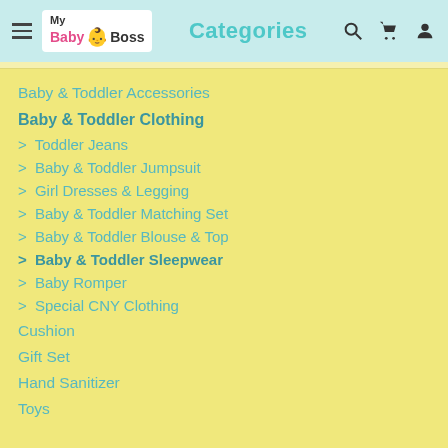My Baby Boss — Categories
Baby & Toddler Accessories
Baby & Toddler Clothing
> Toddler Jeans
> Baby & Toddler Jumpsuit
> Girl Dresses & Legging
> Baby & Toddler Matching Set
> Baby & Toddler Blouse & Top
> Baby & Toddler Sleepwear
> Baby Romper
> Special CNY Clothing
Cushion
Gift Set
Hand Sanitizer
Toys